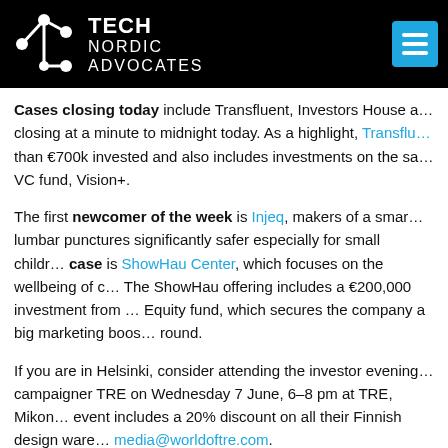Tech Nordic Advocates
Cases closing today include Transfluent, Investors House and others closing at a minute to midnight today. As a highlight, Transfluent has more than €700k invested and also includes investments on the same round from VC fund, Vision+.
The first newcomer of the week is Injeq, makers of a smart needle for lumbar punctures significantly safer especially for small children. The other case is ShowHau Center, which focuses on the wellbeing of children. The ShowHau offering includes a €200,000 investment from a Finnish Impact Equity fund, which secures the company a big marketing boost in the round.
If you are in Helsinki, consider attending the investor evening hosted by campaigner TRE on Wednesday 7 June, 6–8 pm at TRE, Mikon... The event includes a 20% discount on all their Finnish design ware... media@worldoftre.com.